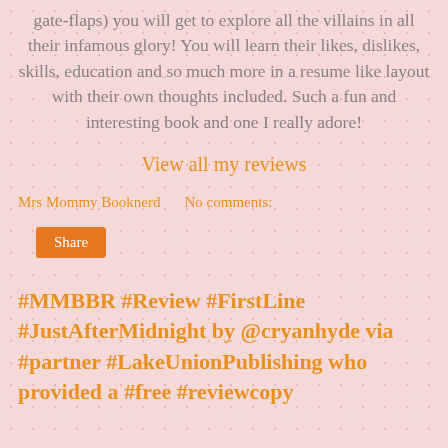gate-flaps) you will get to explore all the villains in all their infamous glory! You will learn their likes, dislikes, skills, education and so much more in a resume like layout with their own thoughts included. Such a fun and interesting book and one I really adore!
View all my reviews
Mrs Mommy Booknerd    No comments:
Share
#MMBBR #Review #FirstLine #JustAfterMidnight by @cryanhyde via #partner #LakeUnionPublishing who provided a #free #reviewcopy